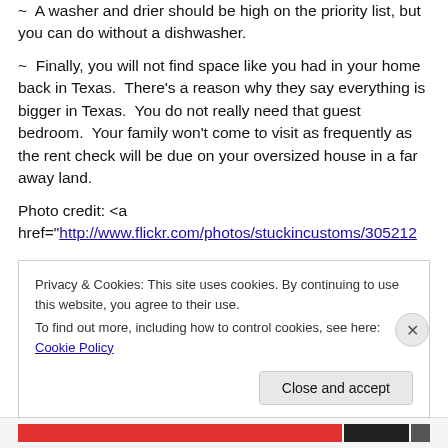~ A washer and drier should be high on the priority list, but you can do without a dishwasher.
~ Finally, you will not find space like you had in your home back in Texas. There’s a reason why they say everything is bigger in Texas. You do not really need that guest bedroom. Your family won’t come to visit as frequently as the rent check will be due on your oversized house in a far away land.
Photo credit: <a href="http://www.flickr.com/photos/stuckincustoms/305212
Privacy & Cookies: This site uses cookies. By continuing to use this website, you agree to their use.
To find out more, including how to control cookies, see here: Cookie Policy